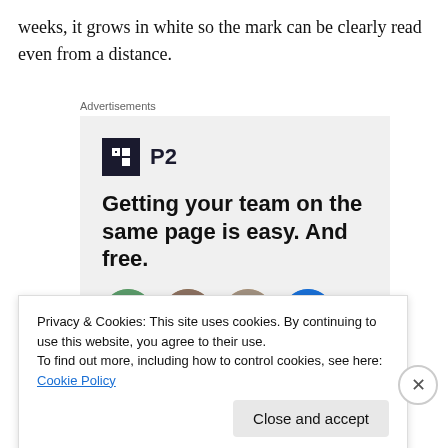weeks, it grows in white so the mark can be clearly read even from a distance.
Advertisements
[Figure (screenshot): P2 advertisement with logo, headline 'Getting your team on the same page is easy. And free.' and user avatars]
Privacy & Cookies: This site uses cookies. By continuing to use this website, you agree to their use.
To find out more, including how to control cookies, see here: Cookie Policy
Advertisements